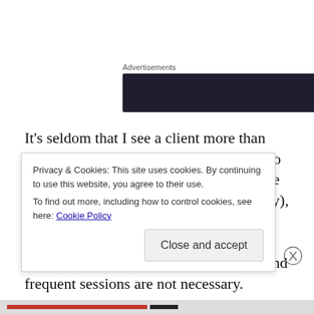Advertisements
[Figure (other): Dark advertisement banner block]
It’s seldom that I see a client more than once. Occasionally, someone will want to set up weekly appointments. I discourage that. It would be great for me (financially), but it’s not the right thing for them. This kind of work (regression hypnotherapy) gets to the heart of the matter, quickly, and frequent sessions are not necessary.
Privacy & Cookies: This site uses cookies. By continuing to use this website, you agree to their use.
To find out more, including how to control cookies, see here: Cookie Policy
Close and accept